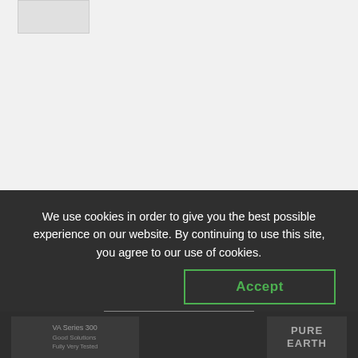[Figure (photo): Partial product thumbnail image in the top-left corner on a light gray background]
We use cookies in order to give you the best possible experience on our website. By continuing to use this site, you agree to our use of cookies.
Accept
Reject
[Figure (screenshot): Partially visible bottom cards area with two card elements containing truncated text and 'PURE EARTH' text on a dark background]